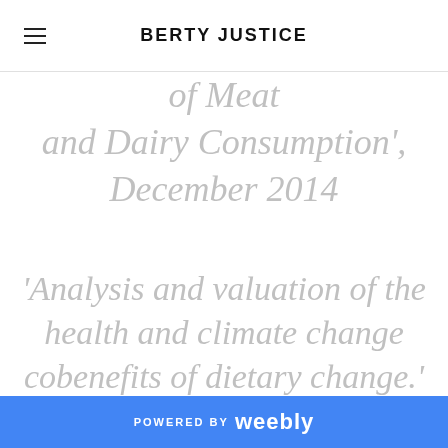BERTY JUSTICE
of Meat and Dairy Consumption', December 2014
'Analysis and valuation of the health and climate change cobenefits of dietary change.' March 2016
'Exploring the Biophysical
POWERED BY weebly